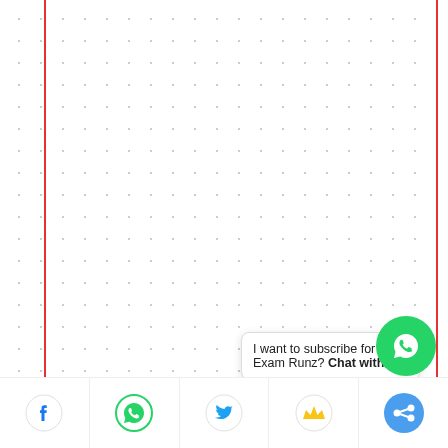[Figure (screenshot): Dot grid notebook paper background with red vertical margin lines on left and right sides]
[Figure (screenshot): BC.GAME Crypto Casino advertisement banner — dark red background, green 'PLAY NOW' button, decorative casino elements]
[Figure (screenshot): Slot machine casino advertisement banner on dark navy background with 7-minus-minus slot display]
I want to subscribe for Exam Runz? Chat with us
[Figure (screenshot): Bottom navigation bar with Facebook, WhatsApp, Twitter, Crown/Kingchat, and Share social media icons]